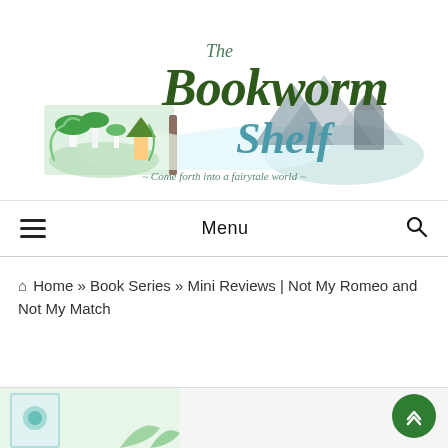[Figure (logo): The Bookworm Shelf logo with illustrated open books, mushrooms, trees, and the tagline '~ Come forth into a fairytale world ~']
Menu
Home » Book Series » Mini Reviews | Not My Romeo and Not My Match
[Figure (photo): Partial view of a book cover at the bottom of the page with decorative plant elements]